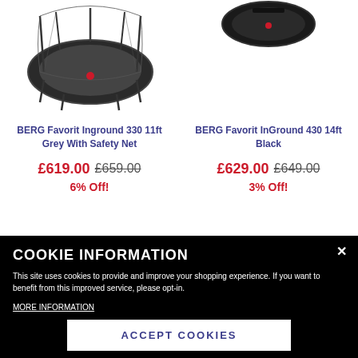[Figure (photo): BERG Favorit Inground 330 11ft trampoline with safety net, dark grey/black color, viewed from slightly above]
[Figure (photo): BERG Favorit InGround 430 14ft trampoline, black color, partial view from above]
BERG Favorit Inground 330 11ft Grey With Safety Net
BERG Favorit InGround 430 14ft Black
£619.00 £659.00
£629.00 £649.00
6% Off!
3% Off!
COOKIE INFORMATION
This site uses cookies to provide and improve your shopping experience. If you want to benefit from this improved service, please opt-in.
MORE INFORMATION
ACCEPT COOKIES